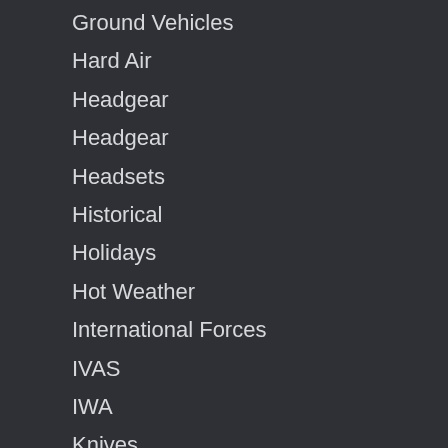Ground Vehicles
Hard Air
Headgear
Headgear
Headsets
Historical
Holidays
Hot Weather
International Forces
IVAS
IWA
Knives
Law Enforcement
Leapfest
Lifestyle